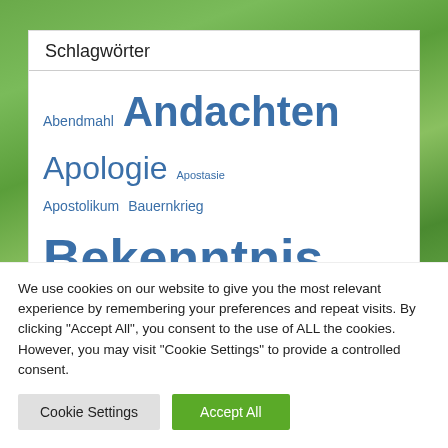[Figure (screenshot): Green nature/park background image visible behind tag cloud panel]
Schlagwörter
Abendmahl Andachten Apologie Apostasie Apostolikum Bauernkrieg Bekenntnis Bekenntnisse Bibel Bibelübersetzung Biographie Briefe Ehe Erwählung Ewigkeit freie Gnade Freiheit Gebet Gebete Gericht Glaube Gnade Heiliger Geist Jesus Katechismus Kirchengeschichte Kirchenordnung Liebe Lieder
We use cookies on our website to give you the most relevant experience by remembering your preferences and repeat visits. By clicking "Accept All", you consent to the use of ALL the cookies. However, you may visit "Cookie Settings" to provide a controlled consent.
Cookie Settings
Accept All